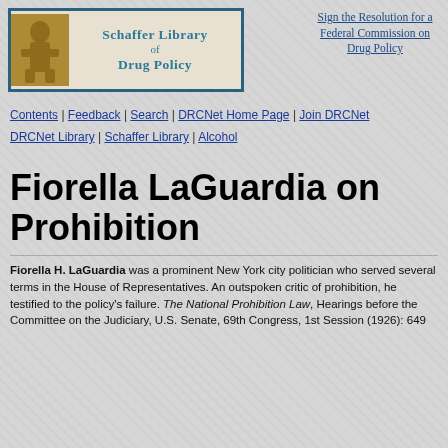[Figure (logo): Schaffer Library of Drug Policy logo with decorative image on left and teal text on right]
Sign the Resolution for a Federal Commission on Drug Policy
Contents | Feedback | Search | DRCNet Home Page | Join DRCNet
DRCNet Library | Schaffer Library | Alcohol
Fiorella LaGuardia on Prohibition
Fiorella H. LaGuardia was a prominent New York city politician who served several terms in the House of Representatives. An outspoken critic of prohibition, he testified to the policy's failure. The National Prohibition Law, Hearings before the Committee on the Judiciary, U.S. Senate, 69th Congress, 1st Session (1926): 649